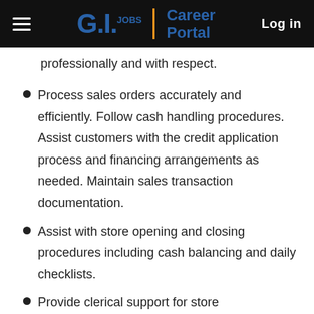G.I. Jobs | Career Portal  Log in
professionally and with respect.
Process sales orders accurately and efficiently. Follow cash handling procedures. Assist customers with the credit application process and financing arrangements as needed. Maintain sales transaction documentation.
Assist with store opening and closing procedures including cash balancing and daily checklists.
Provide clerical support for store administration and accounting functions. Handle telephone traffic and route calls using professional paging methods.
Assist in the compilation of daily charges and other...